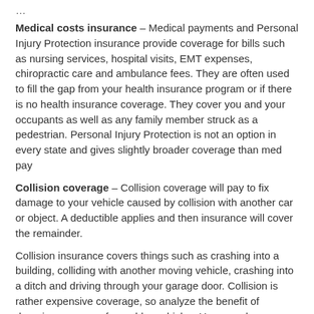Medical costs insurance – Medical payments and Personal Injury Protection insurance provide coverage for bills such as nursing services, hospital visits, EMT expenses, chiropractic care and ambulance fees. They are often used to fill the gap from your health insurance program or if there is no health insurance coverage. They cover you and your occupants as well as any family member struck as a pedestrian. Personal Injury Protection is not an option in every state and gives slightly broader coverage than med pay
Collision coverage – Collision coverage will pay to fix damage to your vehicle caused by collision with another car or object. A deductible applies and then insurance will cover the remainder.
Collision insurance covers things such as crashing into a building, colliding with another moving vehicle, crashing into a ditch and driving through your garage door. Collision is rather expensive coverage, so analyze the benefit of dropping coverage from older vehicles. You can also increase the deductible in order to get cheaper collision rates.